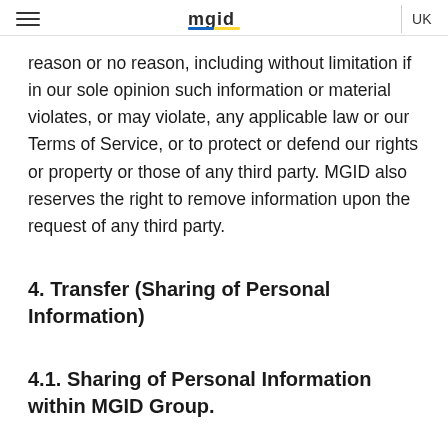mgid UK
reason or no reason, including without limitation if in our sole opinion such information or material violates, or may violate, any applicable law or our Terms of Service, or to protect or defend our rights or property or those of any third party. MGID also reserves the right to remove information upon the request of any third party.
4. Transfer (Sharing of Personal Information)
4.1. Sharing of Personal Information within MGID Group.